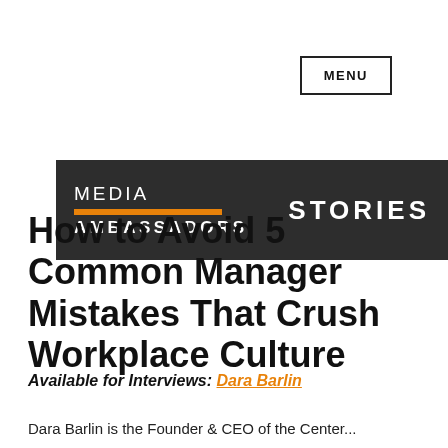MENU
[Figure (logo): Media Ambassadors Stories banner logo on dark background with orange bar accent]
How to Avoid 5 Common Manager Mistakes That Crush Workplace Culture
Available for Interviews: Dara Barlin
Dara Barlin is the Founder & CEO of the Center...